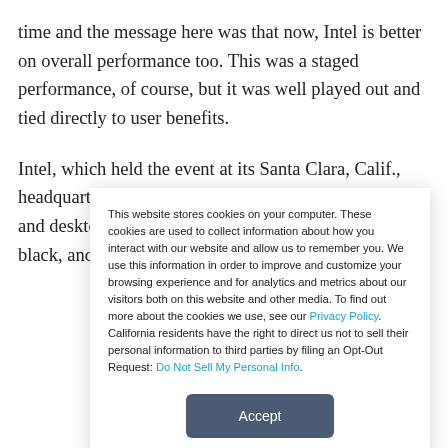time and the message here was that now, Intel is better on overall performance too. This was a staged performance, of course, but it was well played out and tied directly to user benefits.
Intel, which held the event at its Santa Clara, Calif., headquarters, also showed off a lot of very nice laptops and desktops. The new Dell XPS desktop was shown in black, and...
This website stores cookies on your computer. These cookies are used to collect information about how you interact with our website and allow us to remember you. We use this information in order to improve and customize your browsing experience and for analytics and metrics about our visitors both on this website and other media. To find out more about the cookies we use, see our Privacy Policy. California residents have the right to direct us not to sell their personal information to third parties by filing an Opt-Out Request: Do Not Sell My Personal Info.
Accept